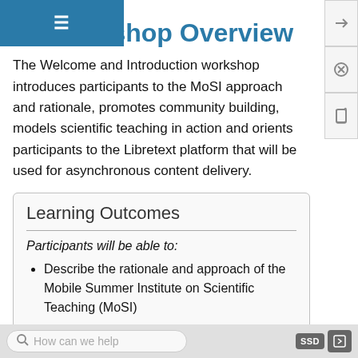Workshop Overview
The Welcome and Introduction workshop introduces participants to the MoSI approach and rationale, promotes community building, models scientific teaching in action and orients participants to the Libretext platform that will be used for asynchronous content delivery.
Learning Outcomes
Participants will be able to:
Describe the rationale and approach of the Mobile Summer Institute on Scientific Teaching (MoSI)
Implement relationship and community-building approaches on the first day of class